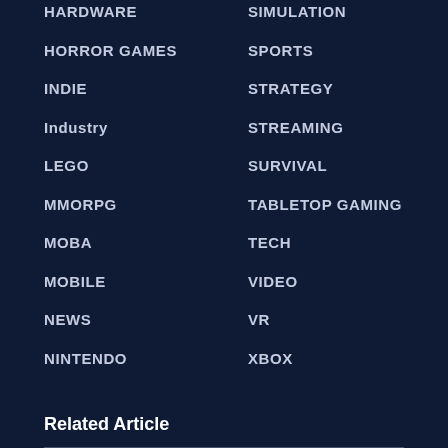HARDWARE
SIMULATION
HORROR GAMES
SPORTS
INDIE
STRATEGY
Industry
STREAMING
LEGO
SURVIVAL
MMORPG
TABLETOP GAMING
MOBA
TECH
MOBILE
VIDEO
NEWS
VR
NINTENDO
XBOX
Related Article